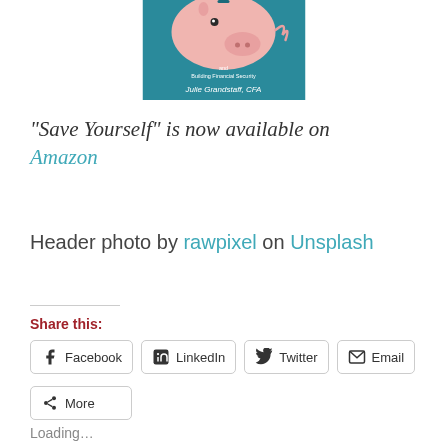[Figure (illustration): Book cover image showing a pink piggy bank on a teal/blue background with text 'Building Financial Security' and author name 'Julie Grandstaff, CFA']
“Save Yourself” is now available on Amazon
Header photo by rawpixel on Unsplash
Share this:
Facebook  LinkedIn  Twitter  Email
More
Loading…